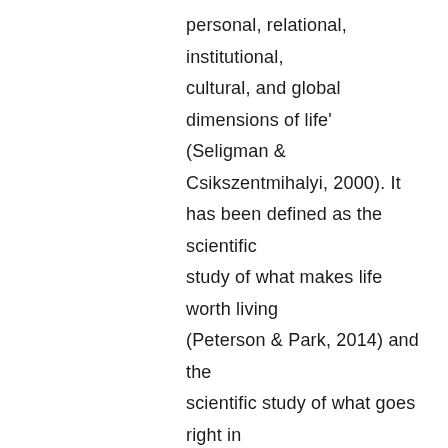personal, relational, institutional, cultural, and global dimensions of life' (Seligman & Csikszentmihalyi, 2000). It has been defined as the scientific study of what makes life worth living (Peterson & Park, 2014) and the scientific study of what goes right in life (Seligman & Csikszentmihalyi, 2000). In other words, positive psychology discovers and improves what's right about you (Gable & Haidt, 2005), rather than trying to 'fix' what might be wrong.